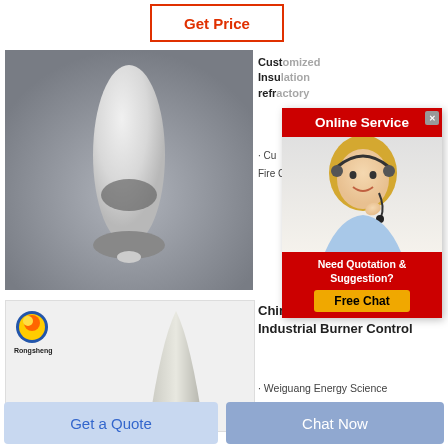Get Price
[Figure (photo): Photo of a light grey/white powder or material shaped into a cone/flame shape sitting on a base, against a grey background]
Customized Insulation refractory
· Cu... Fire C...
[Figure (infographic): Online Service popup with a female customer service agent wearing a headset, red header 'Online Service', red footer with 'Need Quotation & Suggestion?' and yellow 'Free Chat' button]
[Figure (photo): Second product photo showing a cone/flame-shaped refractory piece on a white background, with Rongsheng logo (a globe/ball icon) in top left]
China Refractory Castable Industrial Burner Control
· Weiguang Energy Science
Get a Quote
Chat Now